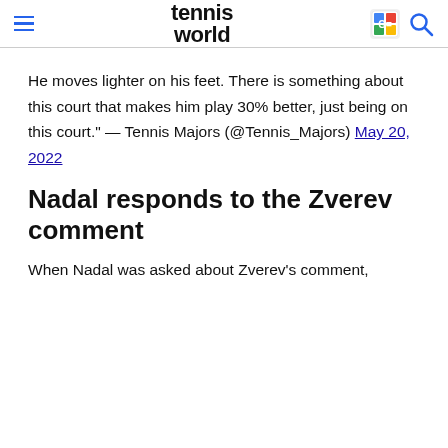tennis world
He moves lighter on his feet. There is something about this court that makes him play 30% better, just being on this court." — Tennis Majors (@Tennis_Majors) May 20, 2022
Nadal responds to the Zverev comment
When Nadal was asked about Zverev's comment,